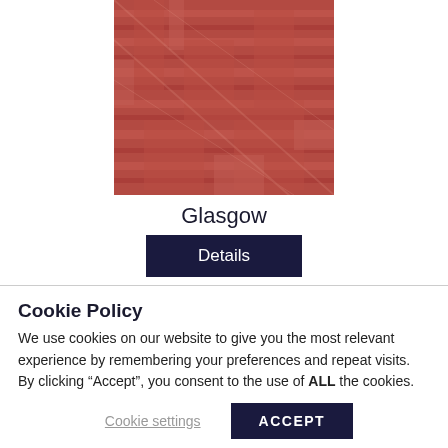[Figure (photo): A reddish-brown textile or carpet pattern with abstract geometric/woven design]
Glasgow
Details
Cookie Policy
We use cookies on our website to give you the most relevant experience by remembering your preferences and repeat visits. By clicking “Accept”, you consent to the use of ALL the cookies.
Cookie settings
ACCEPT